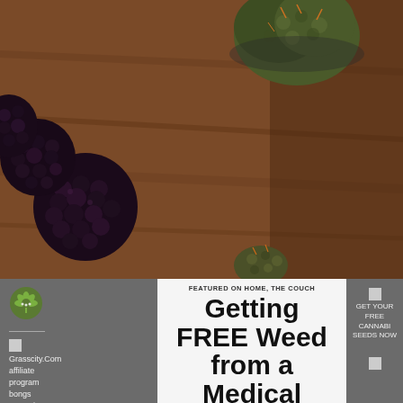[Figure (photo): Photo of dark blackberries and cannabis buds on a wooden table surface, shot from above]
[Figure (logo): Green cannabis leaf logo icon]
FEATURED ON HOME, THE COUCH
Getting FREE Weed from a Medical Marijuana Dis...
Grasscity.Com affiliate program bongs waterpipes glass
GET YOUR FREE CANNABIS SEEDS NOW